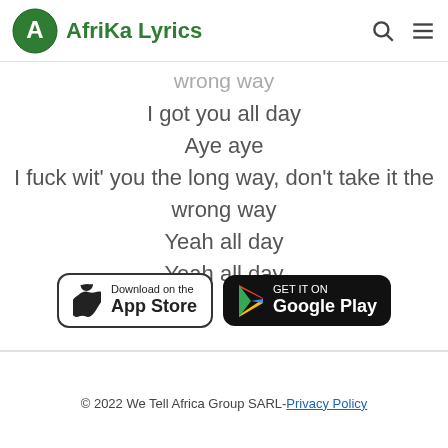Afrika Lyrics
wrong way
I got you all day
Aye aye
I fuck wit' you the long way, don't take it the wrong way
Yeah all day
Yeah all day
[Figure (other): Download on the App Store button]
[Figure (other): GET IT ON Google Play button]
© 2022 We Tell Africa Group SARL-Privacy Policy